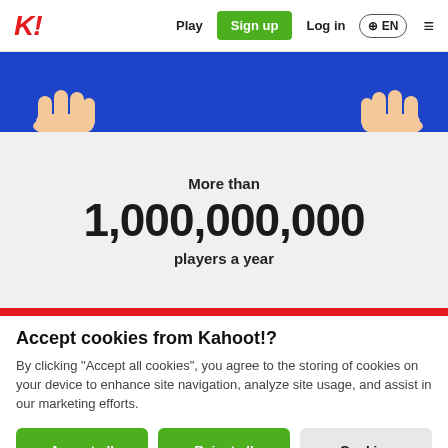K! Play Sign up Log in EN
[Figure (illustration): Blue banner with two cartoon hands holding it from either side]
More than
1,000,000,000
players a year
Accept cookies from Kahoot!?
By clicking "Accept all cookies", you agree to the storing of cookies on your device to enhance site navigation, analyze site usage, and assist in our marketing efforts.
Accept all cookies | Reject all | Cookies settings